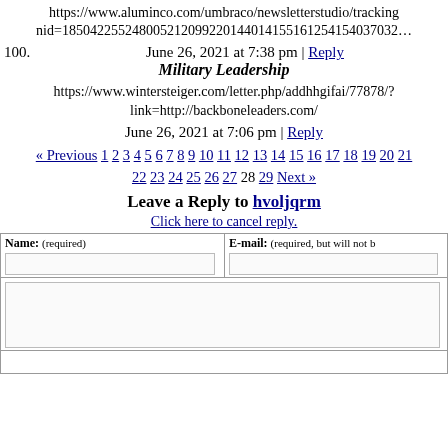https://www.aluminco.com/umbraco/newsletterstudio/tracking nid=18504225524800521209922014401415516125415403703…
June 26, 2021 at 7:38 pm | Reply
100. Military Leadership
https://www.wintersteiger.com/letter.php/addhhgifai/77878/? link=http://backboneleaders.com/
June 26, 2021 at 7:06 pm | Reply
« Previous 1 2 3 4 5 6 7 8 9 10 11 12 13 14 15 16 17 18 19 20 21 22 23 24 25 26 27 28 29 Next »
Leave a Reply to hvoljqrm
Click here to cancel reply.
| Name: (required) | E-mail: (required, but will not be published) |
| --- | --- |
|  |  |
| (comment text area) |  |
|  |  |